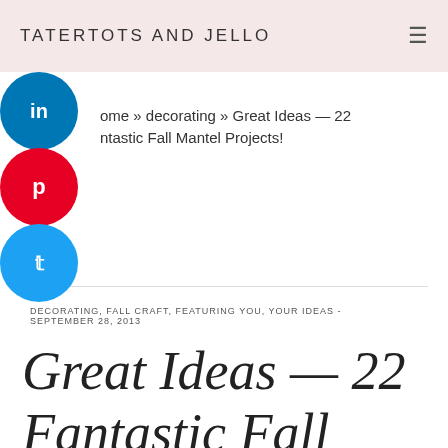TATERTOTS AND JELLO
Home » decorating » Great Ideas — 22 Fantastic Fall Mantel Projects!
DECORATING, FALL CRAFT, FEATURING YOU, YOUR IDEAS - SEPTEMBER 28, 2013
Great Ideas — 22 Fantastic Fall Mantel Projects!